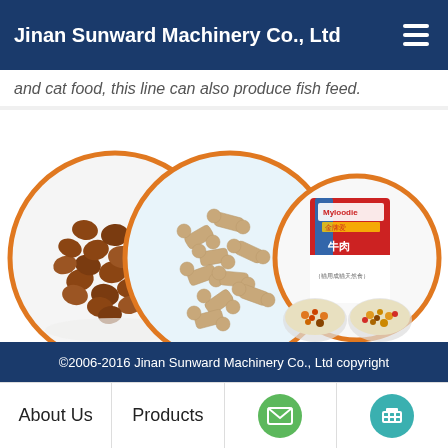Jinan Sunward Machinery Co., Ltd
and cat food, this line can also produce fish feed.
[Figure (photo): Three circular images showing different types of pet food: round brown dry kibble on the left, bone-shaped tan dog treats in the middle, and mixed colored pet food with a branded package (Myloodie brand, Chinese text 牛肉双拼粮) on the right. Each image is framed by an orange circle border.]
Another fortified rice production line was sent to India yesterday.
Nutrients that need to be included in pet food
©2006-2016 Jinan Sunward Machinery Co., Ltd copyright
About Us
Products